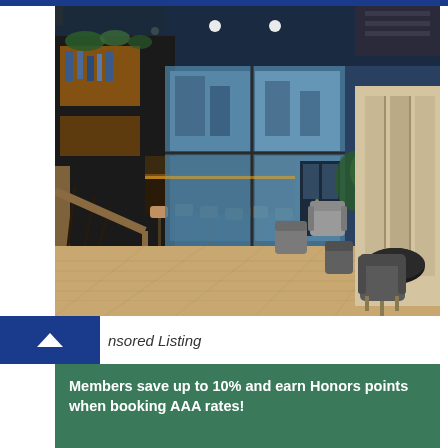[Figure (photo): Interior photo of a modern hotel lobby bar and lounge area with high ceilings, floor-to-ceiling glass windows overlooking a city street, wooden bar counter with bar stools on the left, comfortable lounge chairs and booths on the right, and light wood flooring throughout. Blue ambient lighting and urban setting visible outside.]
Sponsored Listing
Members save up to 10% and earn Honors points when booking AAA rates!